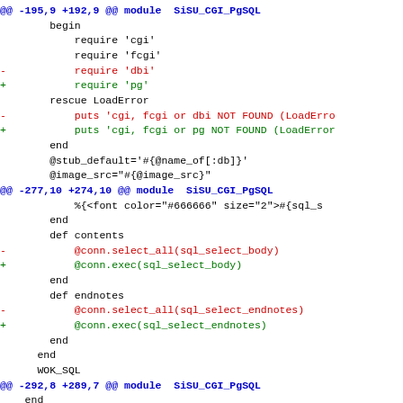[Figure (screenshot): A unified diff / code patch view showing changes to a Ruby module SiSU_CGI_PgSQL. The diff shows three hunks: replacing 'dbi' with 'pg' requires, updating error messages, replacing select_all with exec calls, and a partial fourth hunk with dbi_connect changes. Removed lines are in red, added lines in green, context lines in black, hunk headers in blue.]